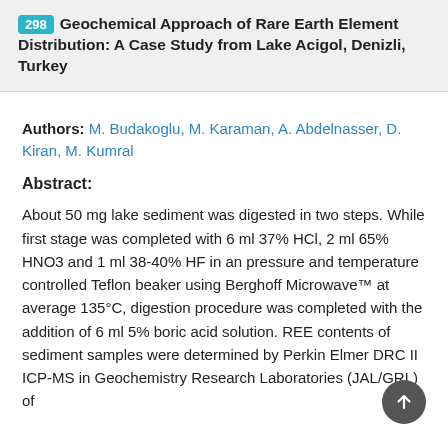298 Geochemical Approach of Rare Earth Element Distribution: A Case Study from Lake Acigol, Denizli, Turkey
Authors: M. Budakoglu, M. Karaman, A. Abdelnasser, D. Kiran, M. Kumral
Abstract:
About 50 mg lake sediment was digested in two steps. While first stage was completed with 6 ml 37% HCl, 2 ml 65% HNO3 and 1 ml 38-40% HF in an pressure and temperature controlled Teflon beaker using Berghoff Microwave™ at average 135°C, digestion procedure was completed with the addition of 6 ml 5% boric acid solution. REE contents of sediment samples were determined by Perkin Elmer DRC II ICP-MS in Geochemistry Research Laboratories (JAL/GRL) of